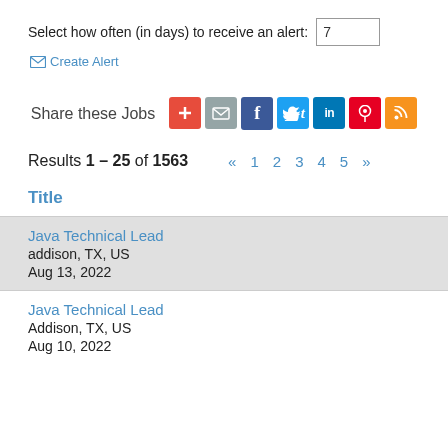Select how often (in days) to receive an alert: 7
✉ Create Alert
Share these Jobs
Results 1 – 25 of 1563   « 1 2 3 4 5 »
Title
Java Technical Lead
addison, TX, US
Aug 13, 2022
Java Technical Lead
Addison, TX, US
Aug 10, 2022